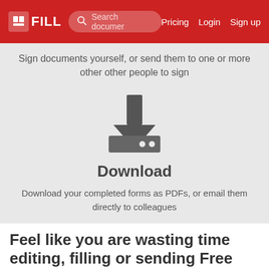FILL | Search documer | Pricing | Login | Sign up
Sign documents yourself, or send them to one or more other other people to sign
[Figure (illustration): Download icon: downward arrow into a tray/box with two dots]
Download
Download your completed forms as PDFs, or email them directly to colleagues
Feel like you are wasting time editing, filling or sending Free fillable forms? Forget it. Start